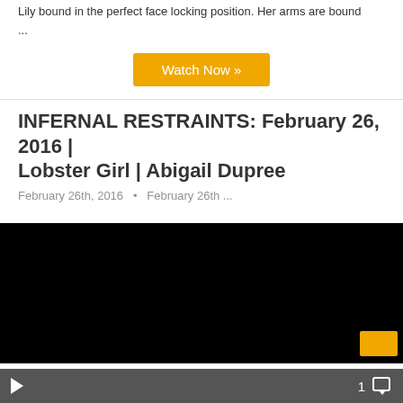Lily bound in the perfect face locking position. Her arms are bound ...
...
Watch Now »
INFERNAL RESTRAINTS: February 26, 2016 | Lobster Girl | Abigail Dupree
[Figure (screenshot): Black video player area with a golden/yellow button overlay in the bottom right corner]
1